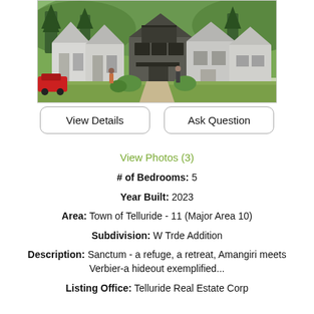[Figure (photo): Architectural rendering of a row of modern farmhouse-style homes with peaked roofs, surrounded by trees and greenery. People walking in front.]
View Details
Ask Question
View Photos (3)
# of Bedrooms: 5
Year Built: 2023
Area: Town of Telluride - 11 (Major Area 10)
Subdivision: W Trde Addition
Description: Sanctum - a refuge, a retreat, Amangiri meets Verbier-a hideout exemplified...
Listing Office: Telluride Real Estate Corp